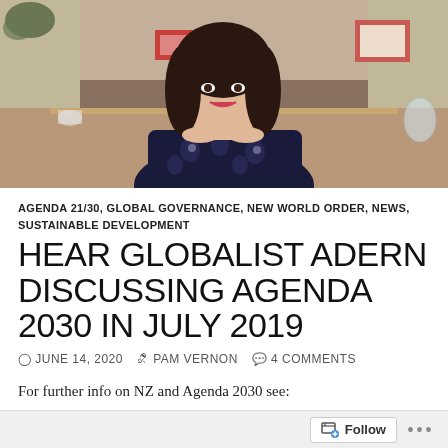[Figure (photo): A woman with long dark hair wearing a dark floral blouse, seated at a table in what appears to be an office or meeting room setting, smiling at the camera.]
AGENDA 21/30, GLOBAL GOVERNANCE, NEW WORLD ORDER, NEWS, SUSTAINABLE DEVELOPMENT
HEAR GLOBALIST ADERN DISCUSSING AGENDA 2030 IN JULY 2019
JUNE 14, 2020  PAM VERNON  4 COMMENTS
For further info on NZ and Agenda 2030 see: